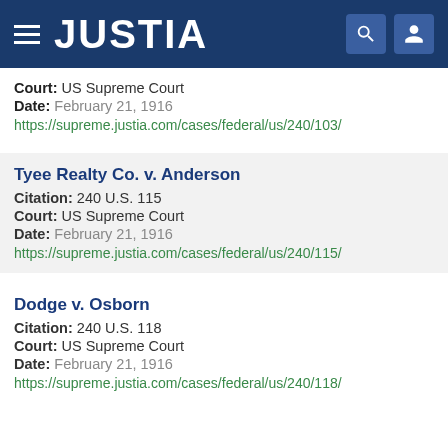JUSTIA
Court: US Supreme Court
Date: February 21, 1916
https://supreme.justia.com/cases/federal/us/240/103/
Tyee Realty Co. v. Anderson
Citation: 240 U.S. 115
Court: US Supreme Court
Date: February 21, 1916
https://supreme.justia.com/cases/federal/us/240/115/
Dodge v. Osborn
Citation: 240 U.S. 118
Court: US Supreme Court
Date: February 21, 1916
https://supreme.justia.com/cases/federal/us/240/118/